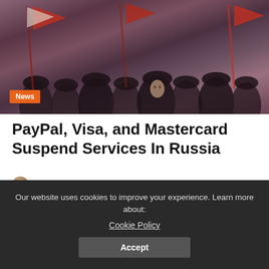[Figure (photo): A crowd of people wearing fur hats and holding flags, in a sepia/muted toned photograph, with an orange 'News' badge overlay in the lower left]
PayPal, Visa, and Mastercard Suspend Services In Russia
Juhi Mirza | March 7, 2022
[Figure (photo): Close-up photograph of a laptop keyboard with stickers on the palm rest area, dark purple/navy key colors against lighter background]
Our website uses cookies to improve your experience. Learn more about:
Cookie Policy
Accept